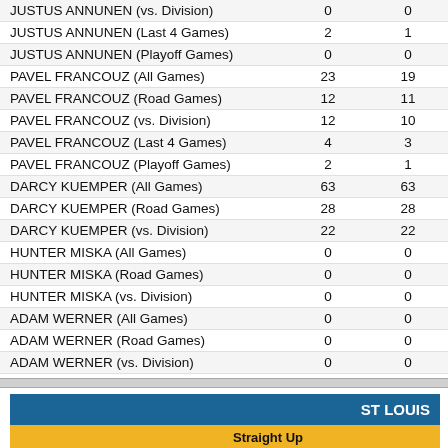| Player/Category | Col1 | Col2 |
| --- | --- | --- |
| JUSTUS ANNUNEN (vs. Division) | 0 | 0 |
| JUSTUS ANNUNEN (Last 4 Games) | 2 | 1 |
| JUSTUS ANNUNEN (Playoff Games) | 0 | 0 |
| PAVEL FRANCOUZ (All Games) | 23 | 19 |
| PAVEL FRANCOUZ (Road Games) | 12 | 11 |
| PAVEL FRANCOUZ (vs. Division) | 12 | 10 |
| PAVEL FRANCOUZ (Last 4 Games) | 4 | 3 |
| PAVEL FRANCOUZ (Playoff Games) | 2 | 1 |
| DARCY KUEMPER (All Games) | 63 | 63 |
| DARCY KUEMPER (Road Games) | 28 | 28 |
| DARCY KUEMPER (vs. Division) | 22 | 22 |
| HUNTER MISKA (All Games) | 0 | 0 |
| HUNTER MISKA (Road Games) | 0 | 0 |
| HUNTER MISKA (vs. Division) | 0 | 0 |
| ADAM WERNER (All Games) | 0 | 0 |
| ADAM WERNER (Road Games) | 0 | 0 |
| ADAM WERNER (vs. Division) | 0 | 0 |
| ST LOUIS | Straight Up |  |
| --- | --- | --- |
|  | W-L-T | Un |
| All Games | 54-37-0 | +9 |